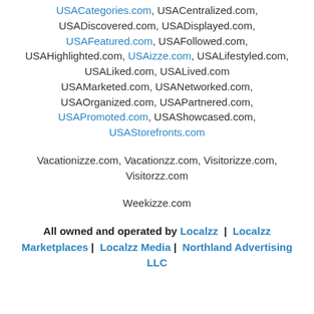USACategories.com, USACentralized.com, USADiscovered.com, USADisplayed.com, USAFeatured.com, USAFollowed.com, USAHighlighted.com, USAizze.com, USALifestyled.com, USALiked.com, USALived.com USAMarketed.com, USANetworked.com, USAOrganized.com, USAPartnered.com, USAPromoted.com, USAShowcased.com, USAStorefronts.com
Vacationizze.com, Vacationzz.com, Visitorizze.com, Visitorzz.com
Weekizze.com
All owned and operated by Localzz | Localzz Marketplaces | Localzz Media | Northland Advertising LLC